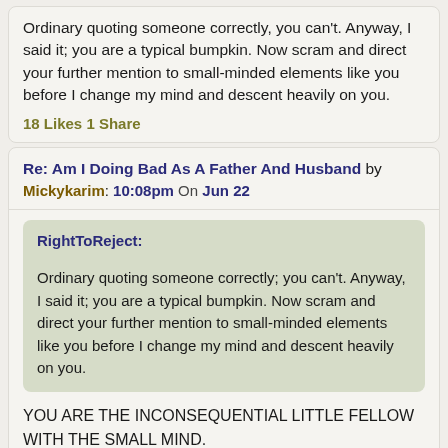Ordinary quoting someone correctly, you can't. Anyway, I said it; you are a typical bumpkin. Now scram and direct your further mention to small-minded elements like you before I change my mind and descent heavily on you.
18 Likes 1 Share
Re: Am I Doing Bad As A Father And Husband by Mickykarim: 10:08pm On Jun 22
RightToReject:
Ordinary quoting someone correctly; you can't. Anyway, I said it; you are a typical bumpkin. Now scram and direct your further mention to small-minded elements like you before I change my mind and descent heavily on you.
YOU ARE THE INCONSEQUENTIAL LITTLE FELLOW WITH THE SMALL MIND.